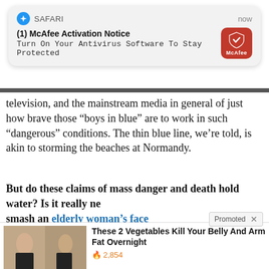[Figure (screenshot): Safari browser push notification banner showing McAfee Activation Notice with text 'Turn On Your Antivirus Software To Stay Protected' and McAfee red icon, timestamped 'now']
television, and the mainstream media in general of just how brave those “boys in blue” are to work in such “dangerous” conditions. The thin blue line, we’re told, is akin to storming the beaches at Normandy.
But do these claims of mass danger and death hold water? Is it really necessary to smash an elderly woman’s face
[Figure (infographic): Promoted ad panel with two ad items: 1) 'These 2 Vegetables Kill Your Belly And Arm Fat Overnight' with fire icon and 2,854 engagements, showing before/after body image. 2) 'Actress Katherine Heigl: "This Is What I Feed My Dog Every Day"' with video thumbnail of woman with dog.]